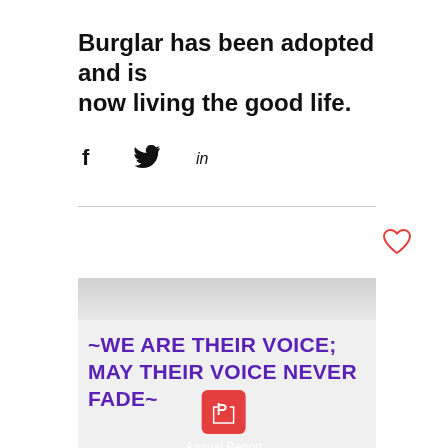Burglar has been adopted and is now living the good life.
[Figure (illustration): Social media share icons: Facebook (f), Twitter (bird), LinkedIn (in)]
[Figure (illustration): Heart/like icon in red outline style]
~WE ARE THEIR VOICE; MAY THEIR VOICE NEVER FADE~
[Figure (illustration): Adobe Acrobat PDF icon (red square with white stylized A) with label 'Annual Report' below on dark background]